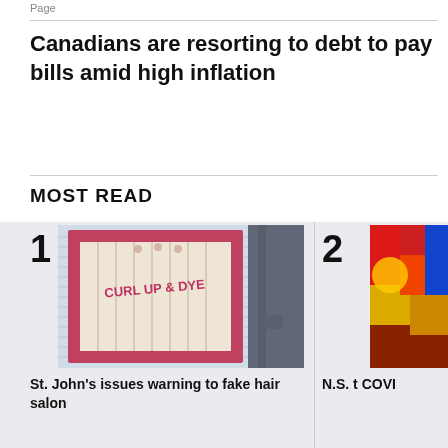Page
Canadians are resorting to debt to pay bills amid high inflation
MOST READ
[Figure (photo): Storefront window of a hair salon called 'Curl Up & Dye' with a pink/red frame and sheer curtains visible inside]
St. John's issues warning to fake hair salon
[Figure (photo): Partially visible image with colorful elements, partially cropped off the right edge]
N.S. t COVI